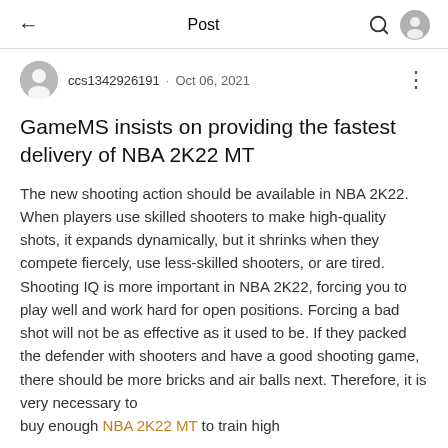Post
ccs1342926191 · Oct 06, 2021
GameMS insists on providing the fastest delivery of NBA 2K22 MT
The new shooting action should be available in NBA 2K22. When players use skilled shooters to make high-quality shots, it expands dynamically, but it shrinks when they compete fiercely, use less-skilled shooters, or are tired. Shooting IQ is more important in NBA 2K22, forcing you to play well and work hard for open positions. Forcing a bad shot will not be as effective as it used to be. If they packed the defender with shooters and have a good shooting game, there should be more bricks and air balls next. Therefore, it is very necessary to buy enough NBA 2K22 MT to train high...